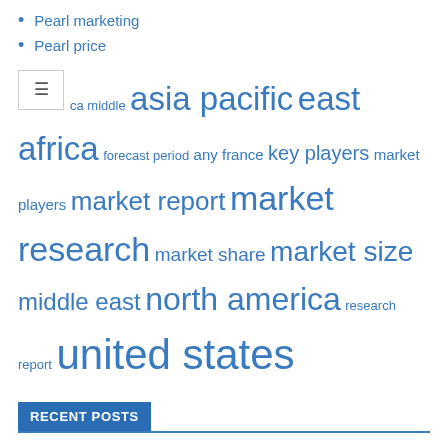Pearl marketing
Pearl price
[Figure (infographic): Tag cloud with terms: africa middle, asia pacific, east africa, forecast period, any france, key players, market players, market report, market research, market share, market size, middle east, north america, research report, united states — shown in varying font sizes in blue]
RECENT POSTS
Pearl Mackie and Jess Chanliau cast in Netflix thriller
Pearl Rings Market Size and Forecast to 2029
Pearlescent Pigments Market Size and Forecast to 2029